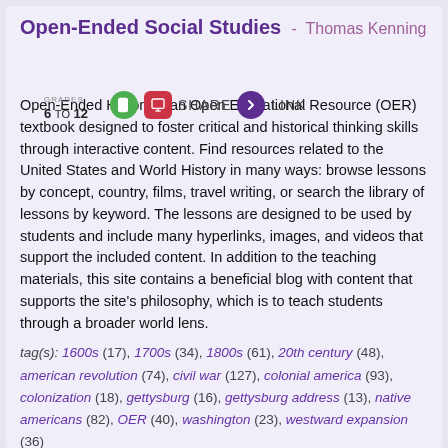Open-Ended Social Studies - Thomas Kenning
GRADES 6 TO 12
Open-Ended History is an Open Educational Resource (OER) textbook designed to foster critical and historical thinking skills through interactive content. Find resources related to the United States and World History in many ways: browse lessons by concept, country, films, travel writing, or search the library of lessons by keyword. The lessons are designed to be used by students and include many hyperlinks, images, and videos that support the included content. In addition to the teaching materials, this site contains a beneficial blog with content that supports the site's philosophy, which is to teach students through a broader world lens.
tag(s): 1600s (17), 1700s (34), 1800s (61), 20th century (48), american revolution (74), civil war (127), colonial america (93), colonization (18), gettysburg (16), gettysburg address (13), native americans (82), OER (40), washington (23), westward expansion (36)
IN THE CLASSROOM
This site is an excellent addition to any middle or high school social studies curriculum. Bookmark this site to include with your other